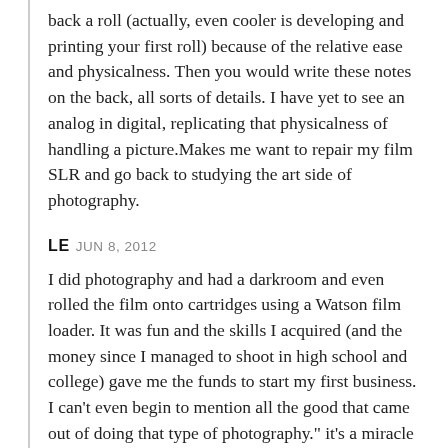back a roll (actually, even cooler is developing and printing your first roll) because of the relative ease and physicalness. Then you would write these notes on the back, all sorts of details. I have yet to see an analog in digital, replicating that physicalness of handling a picture.Makes me want to repair my film SLR and go back to studying the art side of photography.
LE JUN 8, 2012
I did photography and had a darkroom and even rolled the film onto cartridges using a Watson film loader. It was fun and the skills I acquired (and the money since I managed to shoot in high school and college) gave me the funds to start my first business. I can't even begin to mention all the good that came out of doing that type of photography." it's a miracle anyone who wasn't a pro